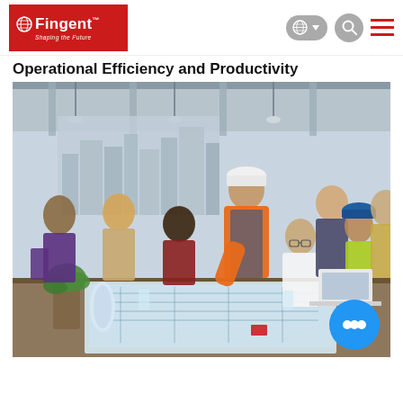[Figure (logo): Fingent logo — red background with globe icon and text 'Fingent Shaping the Future']
Operational Efficiency and Productivity
[Figure (photo): Group of diverse professionals including a construction worker in orange vest and hard hat pointing at blueprints on a table, surrounded by colleagues in a modern office with city skyline visible through windows]